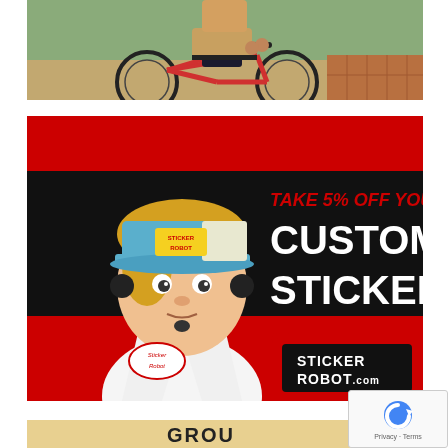[Figure (photo): Person standing with a red road/gravel bicycle outdoors near trees and brick pavers. Person wearing khaki shorts and a belt, holding the bike handlebars.]
[Figure (illustration): Advertisement banner for StickerRobot.com. Red and black background with illustrated cartoon character wearing a lab coat and StickerRobot trucker hat. Text reads: TAKE 5% OFF YOUR CUSTOM STICKERS AT STICKERROBOT.COM]
[Figure (photo): Partial view of another advertisement or image at the bottom of the page, tan/beige background with partial text visible.]